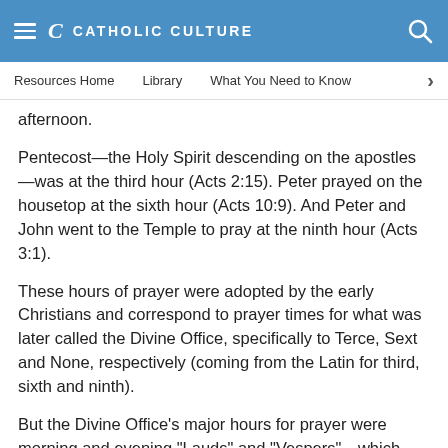CATHOLIC CULTURE
Resources Home   Library   What You Need to Know
afternoon.
Pentecost—the Holy Spirit descending on the apostles—was at the third hour (Acts 2:15). Peter prayed on the housetop at the sixth hour (Acts 10:9). And Peter and John went to the Temple to pray at the ninth hour (Acts 3:1).
These hours of prayer were adopted by the early Christians and correspond to prayer times for what was later called the Divine Office, specifically to Terce, Sext and None, respectively (coming from the Latin for third, sixth and ninth).
But the Divine Office's major hours for prayer were morning and evening "Lauds" and "Vespers"—which corresponded to the morning and evening sacrifice in